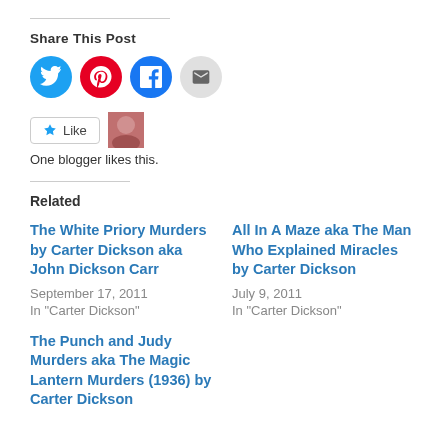Share This Post
[Figure (illustration): Social share icons: Twitter (blue circle), Pinterest (red circle), Facebook (blue circle), Email (grey circle)]
[Figure (illustration): Like button with star icon and blogger avatar thumbnail. Text: One blogger likes this.]
Related
The White Priory Murders by Carter Dickson aka John Dickson Carr
September 17, 2011
In "Carter Dickson"
All In A Maze aka The Man Who Explained Miracles by Carter Dickson
July 9, 2011
In "Carter Dickson"
The Punch and Judy Murders aka The Magic Lantern Murders (1936) by Carter Dickson